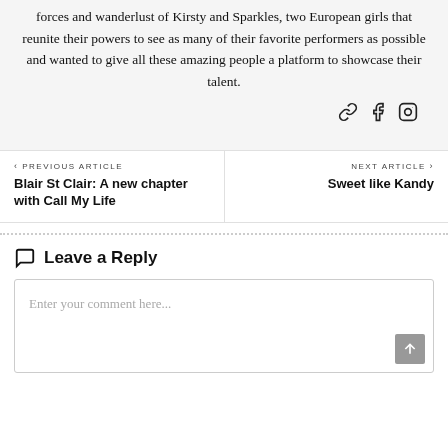forces and wanderlust of Kirsty and Sparkles, two European girls that reunite their powers to see as many of their favorite performers as possible and wanted to give all these amazing people a platform to showcase their talent.
[Figure (other): Social sharing icons: chain link, Facebook, Instagram]
< PREVIOUS ARTICLE
Blair St Clair: A new chapter with Call My Life
NEXT ARTICLE >
Sweet like Kandy
Leave a Reply
Enter your comment here...